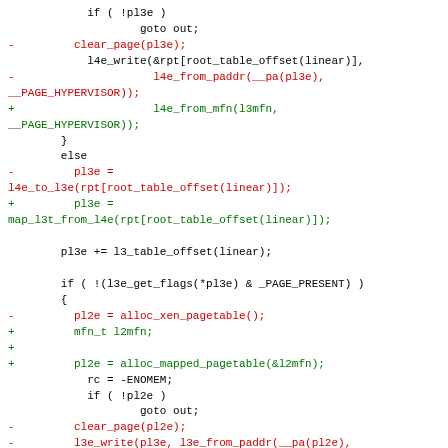[Figure (screenshot): Code diff showing changes to page table mapping functions in a kernel/hypervisor source file. Red lines (prefixed with -) show removed code, green lines (prefixed with +) show added code, and black lines show unchanged context.]